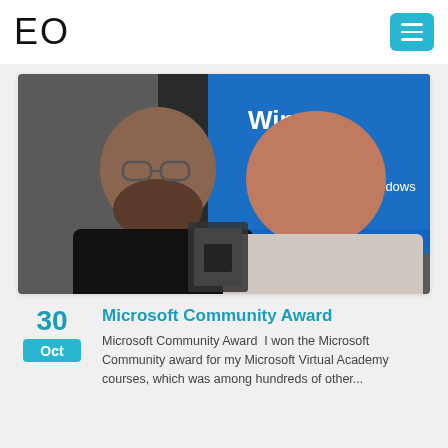EO
[Figure (photo): Two men posing together indoors, one holding a plaque/award. A large screen showing 'Win...' and 'Windows' branding is visible in the background.]
Microsoft Community Award
Microsoft Community Award  I won the Microsoft Community award for my Microsoft Virtual Academy courses, which was among hundreds of other...